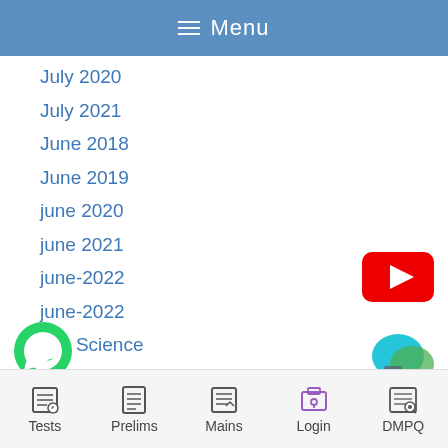☰ Menu
July 2020
July 2021
June 2018
June 2019
june 2020
june 2021
june-2022
june-2022
Life Science
MAIN NOTES
ains Notes
[Figure (logo): YouTube play button icon (red rectangle with white triangle)]
[Figure (logo): WhatsApp green circle icon with phone handset]
[Figure (logo): Chat bubble icon in teal/cyan colors]
Tests  Prelims  Mains  Login  DMPQ